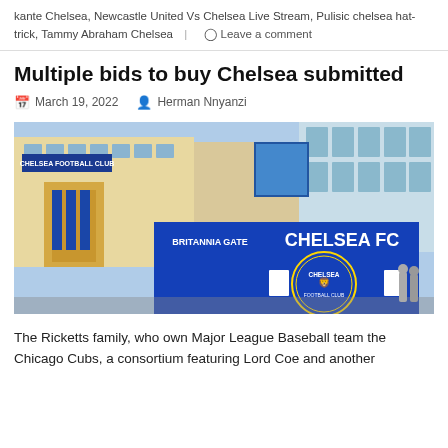kante Chelsea, Newcastle United Vs Chelsea Live Stream, Pulisic chelsea hat-trick, Tammy Abraham Chelsea | Leave a comment
Multiple bids to buy Chelsea submitted
March 19, 2022   Herman Nnyanzi
[Figure (photo): Photo of Chelsea FC Stamford Bridge exterior showing the BRITANNIA GATE entrance with a large blue Chelsea FC sign. The building facade is visible in the background with Chelsea Football Club signage.]
The Ricketts family, who own Major League Baseball team the Chicago Cubs, a consortium featuring Lord Coe and another